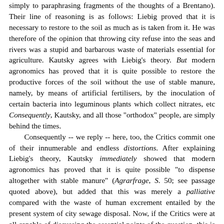simply to paraphrasing fragments of the thoughts of a Brentano). Their line of reasoning is as follows: Liebig proved that it is necessary to restore to the soil as much as is taken from it. He was therefore of the opinion that throwing city refuse into the seas and rivers was a stupid and barbarous waste of materials essential for agriculture. Kautsky agrees with Liebig's theory. But modern agronomics has proved that it is quite possible to restore the productive forces of the soil without the use of stable manure, namely, by means of artificial fertilisers, by the inoculation of certain bacteria into leguminous plants which collect nitrates, etc Consequently, Kautsky, and all those "orthodox" people, are simply behind the times.

Consequently -- we reply -- here, too, the Critics commit one of their innumerable and endless distortions. After explaining Liebig's theory, Kautsky immediately showed that modern agronomics has proved that it is quite possible "to dispense altogether with stable manure" (Agrarfrage, S. 50; see passage quoted above), but added that this was merely a palliative compared with the waste of human excrement entailed by the present system of city sewage disposal. Now, if the Critics were at all capable of discussing the essential points of the question, this is the point they should have disproved; they should have shown that it is not a palliative. But they did not even think of doing so. Needless to say, the